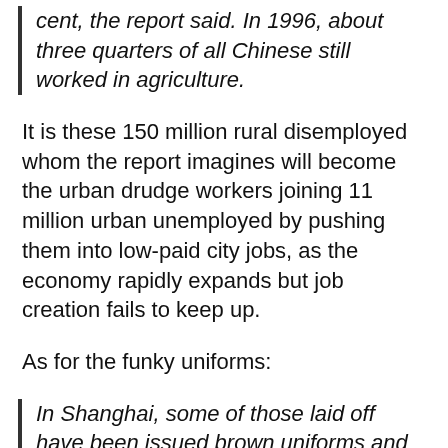cent, the report said. In 1996, about three quarters of all Chinese still worked in agriculture.
It is these 150 million rural disemployed whom the report imagines will become the urban drudge workers joining 11 million urban unemployed by pushing them into low-paid city jobs, as the economy rapidly expands but job creation fails to keep up.
As for the funky uniforms:
In Shanghai, some of those laid off have been issued brown uniforms and whistles and stationed at busy intersections to act as “crosswalk guards,” policing pedestrians and